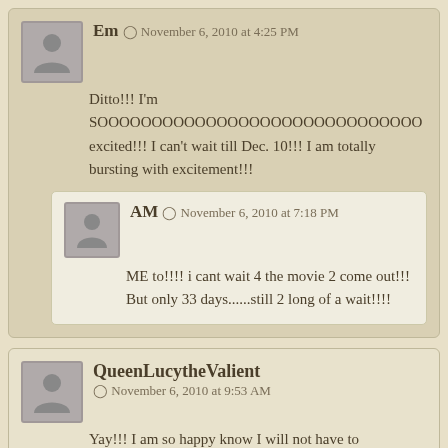Em ☉ November 6, 2010 at 4:25 PM
Ditto!!! I'm SOOOOOOOOOOOOOOOOOOOOOOOOOOOOOO excited!!! I can't wait till Dec. 10!!! I am totally bursting with excitement!!!
AM ☉ November 6, 2010 at 7:18 PM
ME to!!!! i cant wait 4 the movie 2 come out!!! But only 33 days......still 2 long of a wait!!!!
QueenLucytheValient ☉ November 6, 2010 at 9:53 AM
Yay!!! I am so happy know I will not have to